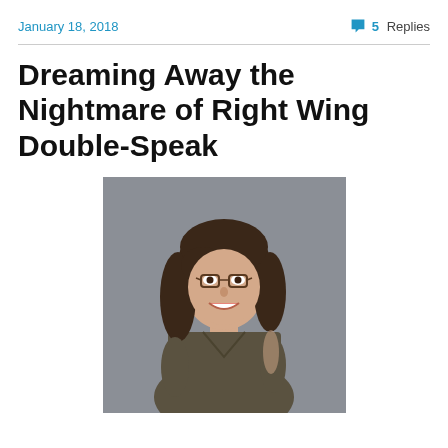January 18, 2018    5 Replies
Dreaming Away the Nightmare of Right Wing Double-Speak
[Figure (photo): Portrait photo of a smiling woman with dark wavy hair and glasses, wearing a dark olive/brown wrap dress, standing in front of a grey background.]